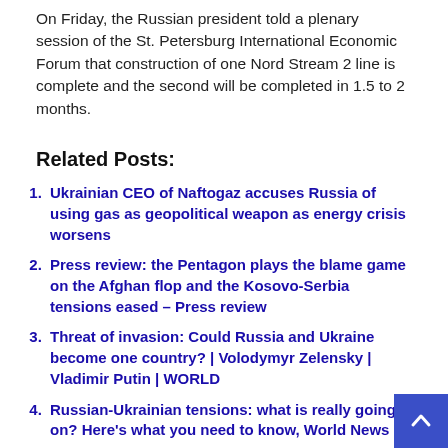On Friday, the Russian president told a plenary session of the St. Petersburg International Economic Forum that construction of one Nord Stream 2 line is complete and the second will be completed in 1.5 to 2 months.
Related Posts:
Ukrainian CEO of Naftogaz accuses Russia of using gas as geopolitical weapon as energy crisis worsens
Press review: the Pentagon plays the blame game on the Afghan flop and the Kosovo-Serbia tensions eased – Press review
Threat of invasion: Could Russia and Ukraine become one country? | Volodymyr Zelensky | Vladimir Putin | WORLD
Russian-Ukrainian tensions: what is really going on? Here's what you need to know, World News